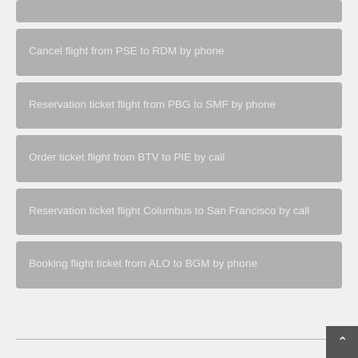Cancel flight from PSE to RDM by phone
Reservation ticket flight from PBG to SMF by phone
Order ticket flight from BTV to PIE by call
Reservation ticket flight Columbus to San Francisco by call
Booking flight ticket from ALO to BGM by phone
Order flight ticket Sioux Falls to Cedar Rapids by phone